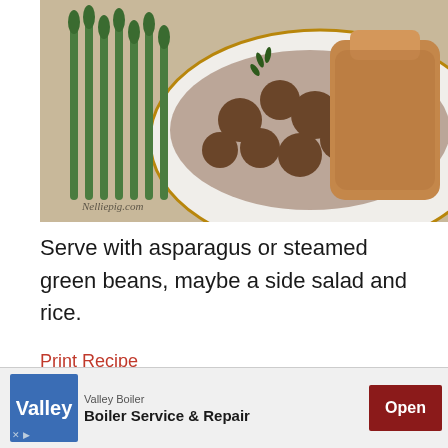[Figure (photo): Photo of pork chops marsala on a white plate with asparagus and sautéed mushrooms in brown sauce, garnished with herbs. Watermark reads 'Nelliepig.com']
Serve with asparagus or steamed green beans, maybe a side salad and rice.
Print Recipe
PORK CHOPS MARSALA
Recipe from: | Serves:
[Figure (other): Advertisement banner for Valley Boiler — Boiler Service & Repair with an Open button]